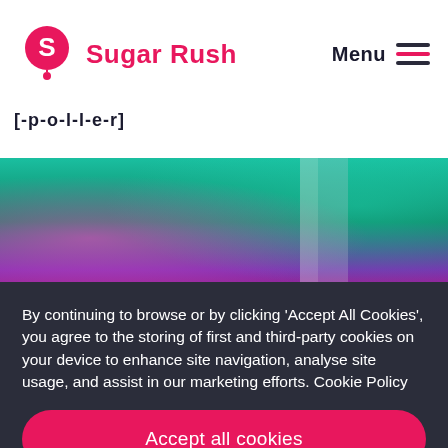Sugar Rush | Menu
[-p-o-l-l-e-r]
[Figure (photo): Concert/event photo with performer wearing pink hair and feathers, green and purple stage lighting with smoke, venue interior visible]
By continuing to browse or by clicking 'Accept All Cookies', you agree to the storing of first and third-party cookies on your device to enhance site navigation, analyse site usage, and assist in our marketing efforts. Cookie Policy
Accept all cookies